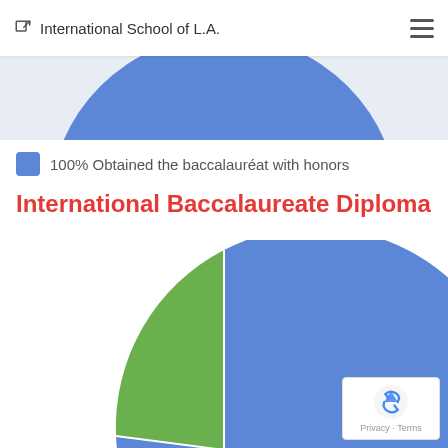International School of L.A.
[Figure (pie-chart): Top portion of a blue pie chart showing 100% obtained the baccalauréat with honors]
100% Obtained the baccalauréat with honors
International Baccalaureate Diploma
[Figure (pie-chart): Pie chart with blue (~67%) and green (~33%) slices showing International Baccalaureate Diploma results]